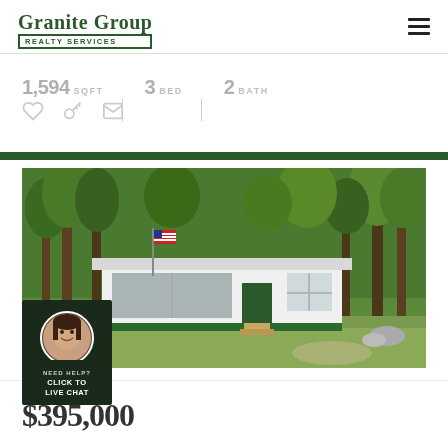Granite Group REALTY SERVICES
1,594 SQFT | 3 BED | 2 BATH
[Figure (photo): Small white cottage/cabin with green trim and American flag in wooded setting]
NEED HELP? CLICK TO LIVE CHAT
$395,000